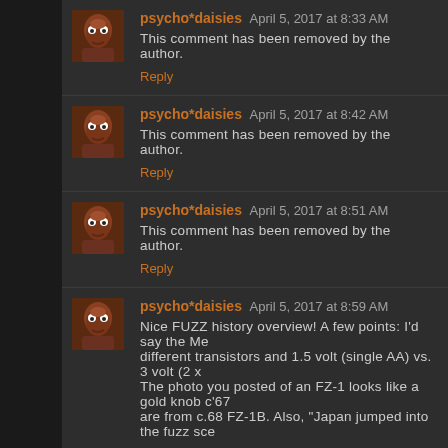psycho*daisies April 5, 2017 at 8:33 AM
This comment has been removed by the author.
Reply
psycho*daisies April 5, 2017 at 8:42 AM
This comment has been removed by the author.
Reply
psycho*daisies April 5, 2017 at 8:51 AM
This comment has been removed by the author.
Reply
psycho*daisies April 5, 2017 at 8:59 AM
Nice FUZZ history overview! A few points: I'd say the Me different transistors and 1.5 volt (single AA) vs. 3 volt (2 x The photo you posted of an FZ-1 looks like a gold knob c'67 are from c.68 FZ-1B. Also, "Japan jumped into the fuzz sce